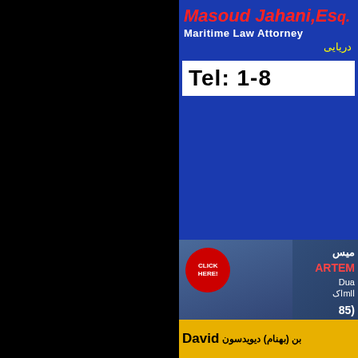[Figure (photo): Advertisement for Masoud Jahani, Esq., Maritime Law Attorney on blue background with red text name, white subtitle, yellow Farsi text, and white Tel box showing Tel: 1-8...]
[Figure (photo): Advertisement for Russell M. Rad, Esq. with professional photo of man in suit, click here badge, and right column with Farsi text, ARTEM..., Dua..., phone (85...), www...]
[Figure (photo): Advertisement with photo of older man in suit with yellow-bordered frame, red Farsi text for legal services, and large white phone number starting 310...]
[Figure (photo): Yellow bottom bar with David and Farsi text: بن (بهنام) دیویدسون]